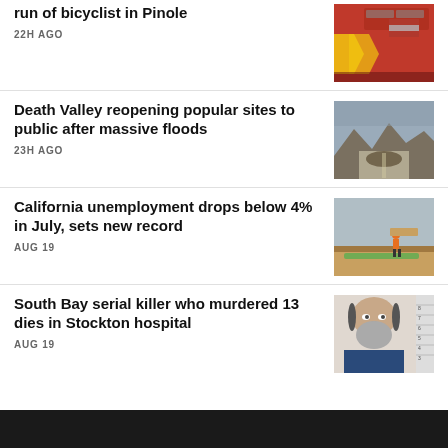run of bicyclist in Pinole
22H AGO
[Figure (photo): Red fire truck with yellow chevrons and American flag detail]
Death Valley reopening popular sites to public after massive floods
23H AGO
[Figure (photo): Flooded desert road with mountains in background, grey sky]
California unemployment drops below 4% in July, sets new record
AUG 19
[Figure (photo): Worker carrying large board on rooftop construction site]
South Bay serial killer who murdered 13 dies in Stockton hospital
AUG 19
[Figure (photo): Mugshot of elderly bearded man with height measurement chart behind him]